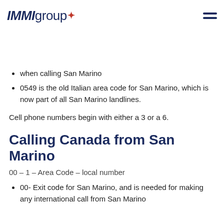IMMIgroup
011 is the exit code for Canada
378 is the country code for San Marino
39 is the country code for Italy, which can be used when calling San Marino
0549 is the old Italian area code for San Marino, which is now part of all San Marino landlines.
Cell phone numbers begin with either a 3 or a 6.
Calling Canada from San Marino
00 – 1 – Area Code – local number
00- Exit code for San Marino, and is needed for making any international call from San Marino